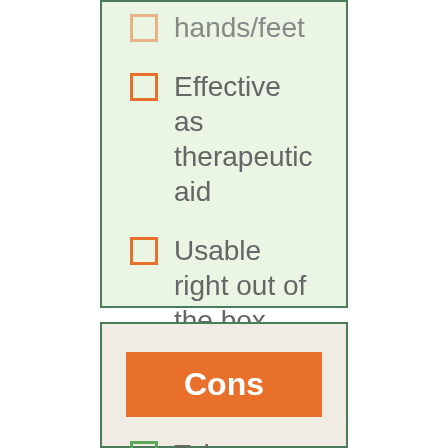Fits the larger hands/feet
Effective as therapeutic aid
Usable right out of the box
Cons
Takes over 2 hours to heat up